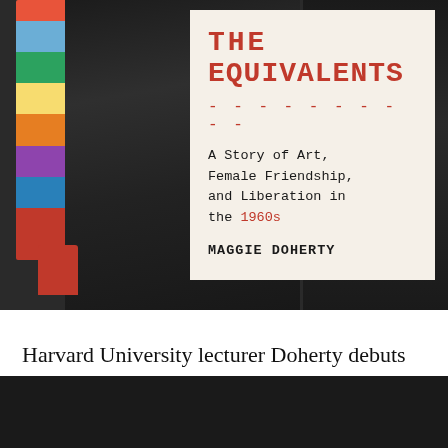[Figure (photo): Book cover of 'The Equivalents' by Maggie Doherty. Black and white photo collage background showing figures, with a cream/beige title card overlay in the center-right. The title 'THE EQUIVALENTS' is in red typewriter font, followed by dashes, then subtitle 'A Story of Art, Female Friendship, and Liberation in the 1960s' with '1960s' in red, and author name 'MAGGIE DOHERTY' in bold black typewriter font.]
Harvard University lecturer Doherty debuts with an elegant, novelistic history of the Radcliffe Institute for Independent Study and its influence on the lives and ca[redacted]en's
[redacted block]